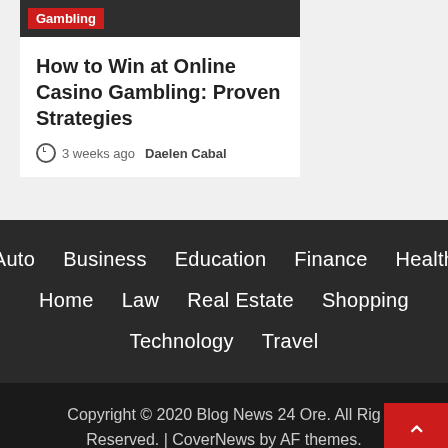How to Win at Online Casino Gambling: Proven Strategies
3 weeks ago  Daelen Cabal
Auto
Business
Education
Finance
Health
Home
Law
Real Estate
Shopping
Technology
Travel
Copyright © 2020 Blog News 24 Ore. All Rights Reserved. | CoverNews by AF themes.